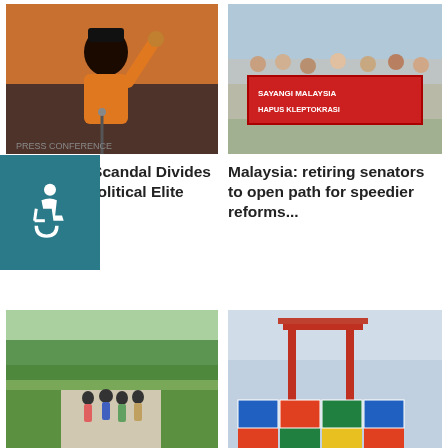[Figure (photo): Man in orange traditional Malay attire pointing upward at podium]
[Figure (photo): Crowd of people holding a red banner saying Sayangi Malaysia Hapus Kleptokrasi]
Corruption Scandal Divides Malaysia's Political Elite
Malaysia: retiring senators to open path for speedier reforms
[Figure (photo): Group of people walking on a path in a park]
[Figure (photo): Port with stacked shipping containers and cranes]
Disenfranchised & Discouraged: Malaysian
TPP's Demise Sends Malaysia in Search of a
Make a comment
Your email address will not be published.
Add your comment